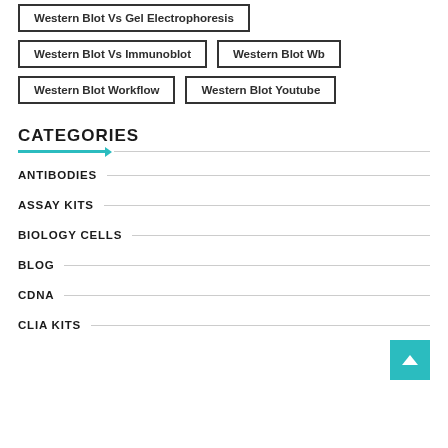Western Blot Vs Gel Electrophoresis
Western Blot Vs Immunoblot
Western Blot Wb
Western Blot Workflow
Western Blot Youtube
CATEGORIES
ANTIBODIES
ASSAY KITS
BIOLOGY CELLS
BLOG
CDNA
CLIA KITS